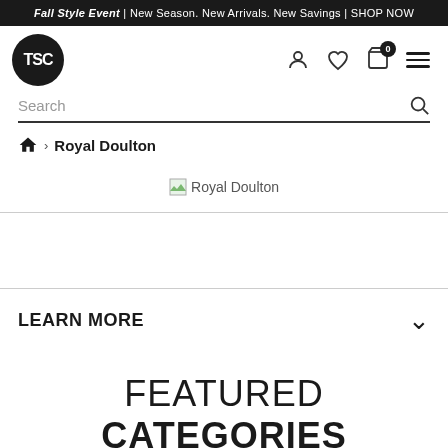Fall Style Event | New Season. New Arrivals. New Savings | SHOP NOW
[Figure (logo): TSC logo — black circle with white TSC text]
Search
Home > Royal Doulton
[Figure (illustration): Royal Doulton brand image placeholder]
LEARN MORE
FEATURED CATEGORIES